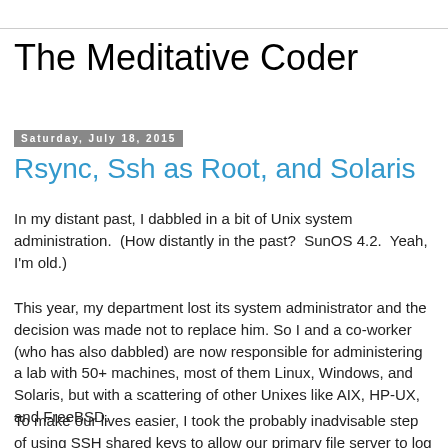The Meditative Coder
Saturday, July 18, 2015
Rsync, Ssh as Root, and Solaris
In my distant past, I dabbled in a bit of Unix system administration.  (How distantly in the past?  SunOS 4.2.  Yeah, I'm old.)
This year, my department lost its system administrator and the decision was made not to replace him. So I and a co-worker (who has also dabbled) are now responsible for administering a lab with 50+ machines, most of them Linux, Windows, and Solaris, but with a scattering of other Unixes like AIX, HP-UX, and FreeBSD.
To make our lives easier, I took the probably inadvisable step of using SSH shared keys to allow our primary file server to log into all other Unix machines as root without password